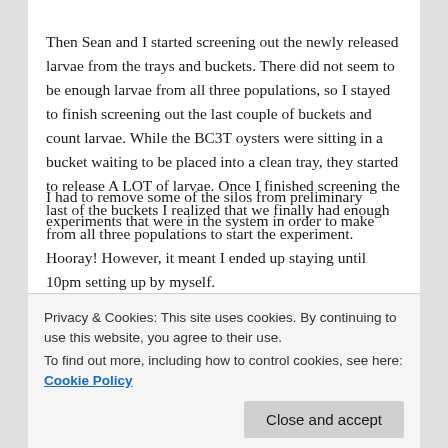Then Sean and I started screening out the newly released larvae from the trays and buckets. There did not seem to be enough larvae from all three populations, so I stayed to finish screening out the last couple of buckets and count larvae. While the BC3T oysters were sitting in a bucket waiting to be placed into a clean tray, they started to release A LOT of larvae. Once I finished screening the last of the buckets I realized that we finally had enough from all three populations to start the experiment. Hooray! However, it meant I ended up staying until 10pm setting up by myself.
I had to remove some of the silos from preliminary experiments that were in the system in order to make
There were two family groups for OA and OH that had a